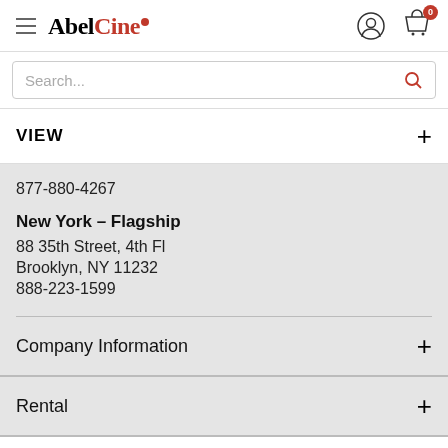[Figure (logo): AbelCine logo with hamburger menu icon]
Search...
VIEW
877-880-4267
New York – Flagship
88 35th Street, 4th Fl
Brooklyn, NY 11232
888-223-1599
Company Information
Rental